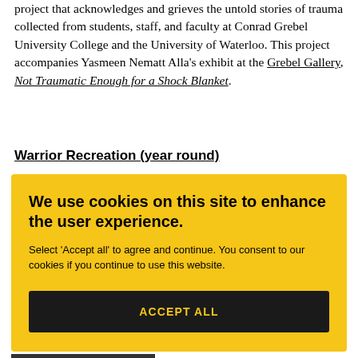project that acknowledges and grieves the untold stories of trauma collected from students, staff, and faculty at Conrad Grebel University College and the University of Waterloo. This project accompanies Yasmeen Nematt Alla's exhibit at the Grebel Gallery, Not Traumatic Enough for a Shock Blanket.
Warrior Recreation (year round)
We use cookies on this site to enhance the user experience.
Select 'Accept all' to agree and continue. You consent to our cookies if you continue to use this website.
ACCEPT ALL